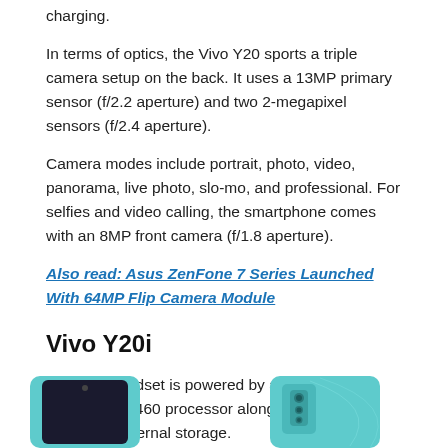charging.
In terms of optics, the Vivo Y20 sports a triple camera setup on the back. It uses a 13MP primary sensor (f/2.2 aperture) and two 2-megapixel sensors (f/2.4 aperture).
Camera modes include portrait, photo, video, panorama, live photo, slo-mo, and professional. For selfies and video calling, the smartphone comes with an 8MP front camera (f/1.8 aperture).
Also read: Asus ZenFone 7 Series Launched With 64MP Flip Camera Module
Vivo Y20i
The new handset is powered by a Qualcomm Snapdragon 460 processor along with 3GB RAM and 64GB internal storage.
[Figure (photo): Photo showing front and back views of Vivo Y20i smartphone in teal/cyan color]